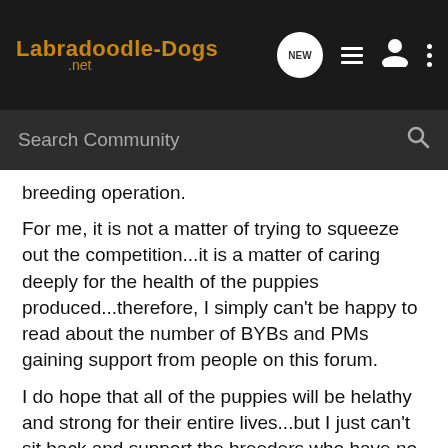Labradoodle-Dogs.net
Search Community
breeding operation.
For me, it is not a matter of trying to squeeze out the competition...it is a matter of caring deeply for the health of the puppies produced...therefore, I simply can't be happy to read about the number of BYBs and PMs gaining support from people on this forum.
I do hope that all of the puppies will be helathy and strong for their entire lives...but I just can't sit back and support the breeders who have no concern or, perhaps, limited knowledge...those who produce puppies who will end up with a greater chance of serious illness or a lifetime of suffering.
I honestly believe that you can pay your money up front, and support breeders who are testing their breeding stock, who offer long-term support and warranties...or you can gamble that a BYB/PM will produce a healthy puppy...and, more than likely,